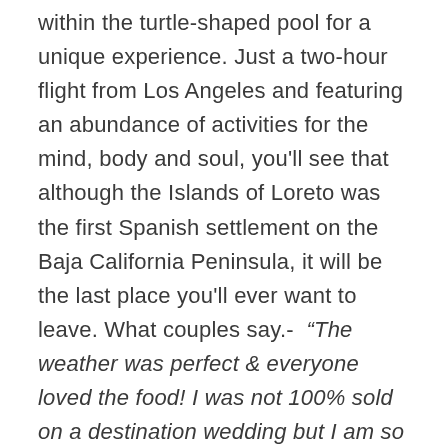within the turtle-shaped pool for a unique experience. Just a two-hour flight from Los Angeles and featuring an abundance of activities for the mind, body and soul, you'll see that although the Islands of Loreto was the first Spanish settlement on the Baja California Peninsula, it will be the last place you'll ever want to leave. What couples say.- “The weather was perfect & everyone loved the food! I was not 100% sold on a destination wedding but I am so happy we did it. Everything turned out amazing” – Brani & Kim. THE BASICS Airport Proximity Loreto International Airport (LTO), 25 Min. Direct flight.- From LAX & TIJ Room & Suites.- 181 Max.